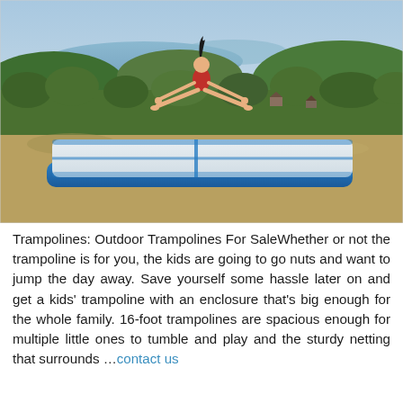[Figure (photo): A girl in a red swimsuit doing a straddle jump in mid-air above a large blue inflatable gymnastics air track mat, outdoors on a grassy hillside with trees, water, and a scenic landscape in the background.]
Trampolines: Outdoor Trampolines For SaleWhether or not the trampoline is for you, the kids are going to go nuts and want to jump the day away. Save yourself some hassle later on and get a kids' trampoline with an enclosure that's big enough for the whole family. 16-foot trampolines are spacious enough for multiple little ones to tumble and play and the sturdy netting that surrounds …contact us